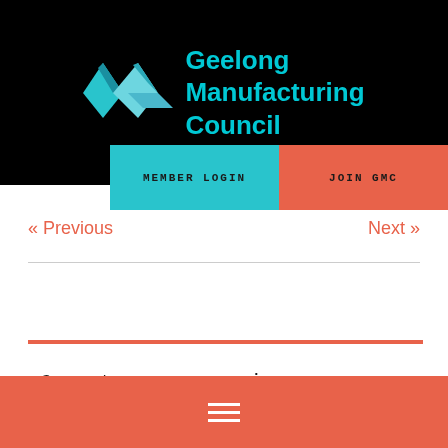[Figure (logo): Geelong Manufacturing Council logo with geometric diamond/arrow shape in blue and cyan tones, with text 'Geelong Manufacturing Council' in cyan on black background]
MEMBER LOGIN
JOIN GMC
« Previous
Next »
Categories